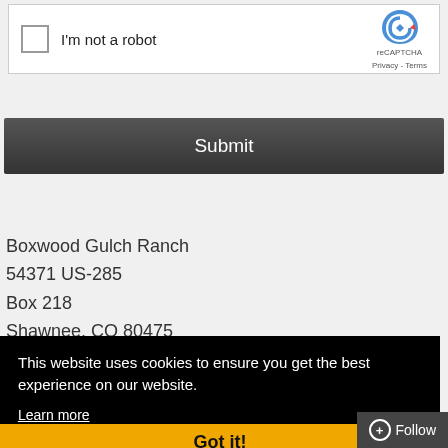[Figure (screenshot): reCAPTCHA widget with checkbox labeled 'I'm not a robot' and reCAPTCHA logo with Privacy and Terms links]
Submit
Boxwood Gulch Ranch
54371 US-285
Box 218
Shawnee, CO 80475
303-838-2465
This website uses cookies to ensure you get the best experience on our website.
Learn more
Got it!